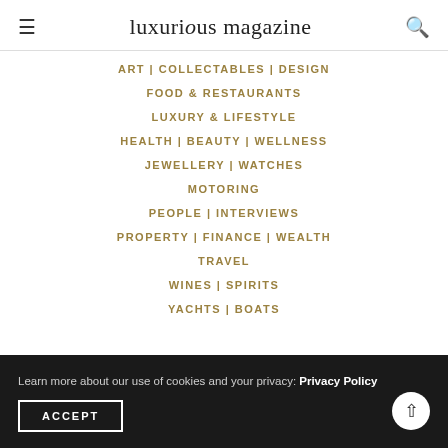luxurious magazine
ART | COLLECTABLES | DESIGN
FOOD & RESTAURANTS
LUXURY & LIFESTYLE
HEALTH | BEAUTY | WELLNESS
JEWELLERY | WATCHES
MOTORING
PEOPLE | INTERVIEWS
PROPERTY | FINANCE | WEALTH
TRAVEL
WINES | SPIRITS
YACHTS | BOATS
Learn more about our use of cookies and your privacy: Privacy Policy
ACCEPT